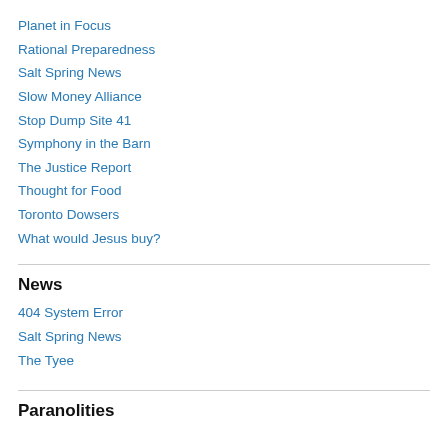Planet in Focus
Rational Preparedness
Salt Spring News
Slow Money Alliance
Stop Dump Site 41
Symphony in the Barn
The Justice Report
Thought for Food
Toronto Dowsers
What would Jesus buy?
News
404 System Error
Salt Spring News
The Tyee
Paranolities